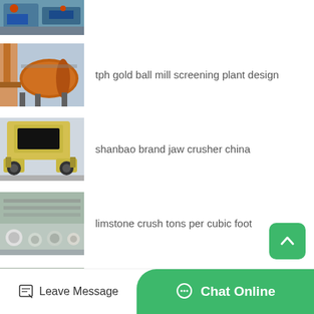[Figure (photo): Partial view of industrial mining/crushing machine in blue, partially cropped at top]
[Figure (photo): Large orange ball mill cylinder on supports in an industrial facility]
tph gold ball mill screening plant design
[Figure (photo): Yellow jaw crusher machine in a factory setting]
shanbao brand jaw crusher china
[Figure (photo): Various industrial crusher/mill parts and machinery on factory floor]
limstone crush tons per cubic foot
[Figure (photo): Partial view of another industrial machine, cropped at bottom]
... making m...